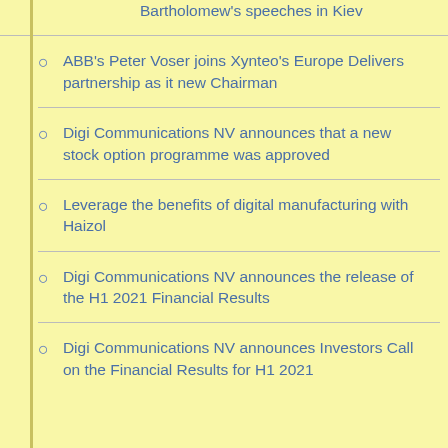Bartholomew's speeches in Kiev
ABB's Peter Voser joins Xynteo's Europe Delivers partnership as it new Chairman
Digi Communications NV announces that a new stock option programme was approved
Leverage the benefits of digital manufacturing with Haizol
Digi Communications NV announces the release of the H1 2021 Financial Results
Digi Communications NV announces Investors Call on the Financial Results for H1 2021